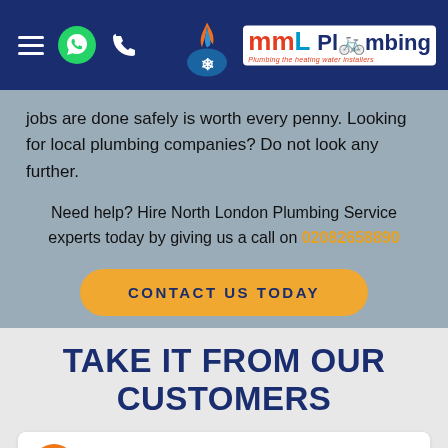[Figure (logo): MML Plumbing website header with hamburger menu, WhatsApp icon, phone icon, and MML Plumbing logo with flame graphic]
jobs are done safely is worth every penny. Looking for local plumbing companies? Do not look any further.
Need help? Hire North London Plumbing Service experts today by giving us a call on 02082658890
CONTACT US TODAY
TAKE IT FROM OUR CUSTOMERS
Denise Fallon